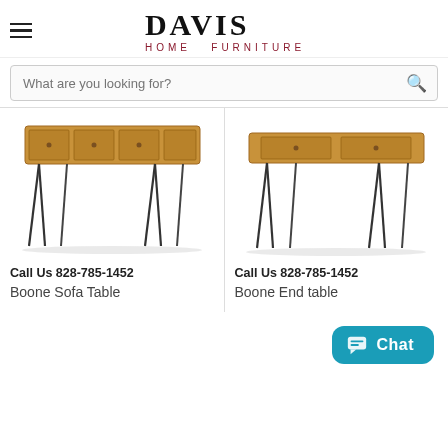DAVIS HOME FURNITURE
What are you looking for?
[Figure (photo): Boone Sofa Table with wooden top and hairpin metal legs, partially cropped from above]
Call Us 828-785-1452
Boone Sofa Table
[Figure (photo): Boone End Table with wooden top and hairpin metal legs, partially cropped from above]
Call Us 828-785-1452
Boone End table
Chat